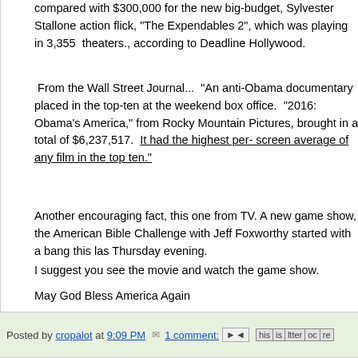compared with $300,000 for the new big-budget, Sylvester Stallone action flick, "The Expendables 2", which was playing in 3,355 theaters., according to Deadline Hollywood.
From the Wall Street Journal... "An anti-Obama documentary placed in the top-ten at the weekend box office. "2016: Obama's America," from Rocky Mountain Pictures, brought in a total of $6,237,517. It had the highest per- screen average of any film in the top ten."
Another encouraging fact, this one from TV. A new game show, the American Bible Challenge with Jeff Foxworthy started with a bang this last Thursday evening.
I suggest you see the movie and watch the game show.
May God Bless America Again
Posted by cropalot at 9:09 PM   1 comment: